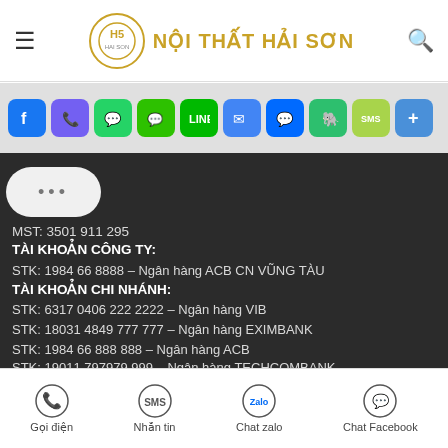NỘI THẤT HẢI SƠN
[Figure (screenshot): Social media sharing buttons row: Facebook, Viber, WhatsApp, WeChat, LINE, Email, Messenger, Evernote, SMS, More]
[Figure (illustration): Chat bubble with three dots (...)]
MST: 3501 911 295
TÀI KHOẢN CÔNG TY:
STK: 1984 66 8888 – Ngân hàng ACB CN VŨNG TÀU
TÀI KHOẢN CHI NHÁNH:
STK: 6317 0406 222 2222 – Ngân hàng VIB
STK: 18031 4849 777 777 – Ngân hàng EXIMBANK
STK: 1984 66 888 888 – Ngân hàng ACB
STK: 19011 797979 999 – Ngân hàng TECHCOMBANK
Gọi điện | Nhắn tin | Chat zalo | Chat Facebook